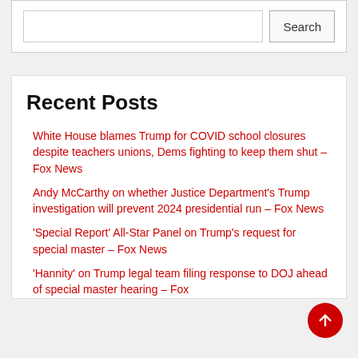Search
Recent Posts
White House blames Trump for COVID school closures despite teachers unions, Dems fighting to keep them shut – Fox News
Andy McCarthy on whether Justice Department's Trump investigation will prevent 2024 presidential run – Fox News
'Special Report' All-Star Panel on Trump's request for special master – Fox News
'Hannity' on Trump legal team filing response to DOJ ahead of special master hearing – Fox